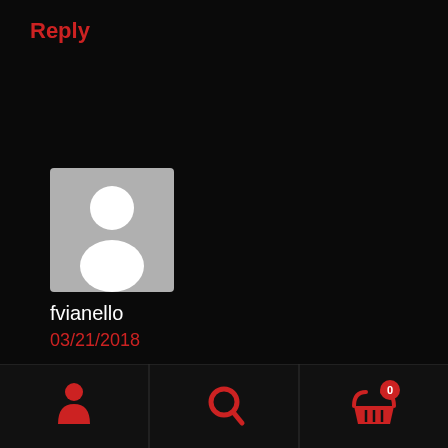Reply
[Figure (illustration): Default avatar placeholder showing a white silhouette of a person on a grey background]
fvianello
03/21/2018
Pieter, no need to sacrifice your first born…You're already in the reserved list, copy nr. 77 🙂
[Figure (infographic): Bottom navigation bar with three icons: a red person/user icon, a red search/magnifying glass icon, and a red shopping basket icon with a red badge showing '0']